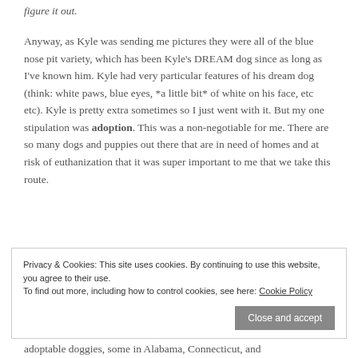figure it out.
Anyway, as Kyle was sending me pictures they were all of the blue nose pit variety, which has been Kyle's DREAM dog since as long as I've known him. Kyle had very particular features of his dream dog (think: white paws, blue eyes, *a little bit* of white on his face, etc etc). Kyle is pretty extra sometimes so I just went with it. But my one stipulation was adoption. This was a non-negotiable for me. There are so many dogs and puppies out there that are in need of homes and at risk of euthanization that it was super important to me that we take this route.
Privacy & Cookies: This site uses cookies. By continuing to use this website, you agree to their use. To find out more, including how to control cookies, see here: Cookie Policy
adoptable doggies, some in Alabama, Connecticut, and